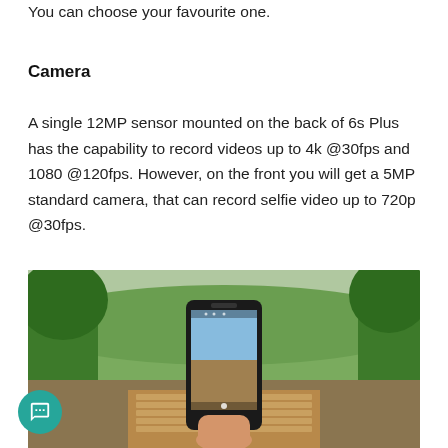You can choose your favourite one.
Camera
A single 12MP sensor mounted on the back of 6s Plus has the capability to record videos up to 4k @30fps and 1080 @120fps. However, on the front you will get a 5MP standard camera, that can record selfie video up to 720p @30fps.
[Figure (photo): A hand holding a smartphone with the camera app open, photographing a wooden pathway, with green trees and hills in the background.]